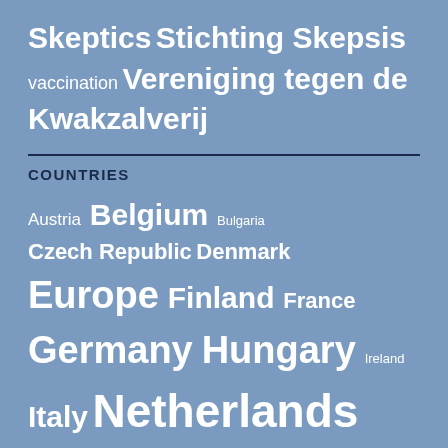Skeptics Stichting Skepsis vaccination Vereniging tegen de Kwakzalverij
COUNTRIES
Austria Belgium Bulgaria Czech Republic Denmark Europe Finland France Germany Hungary Ireland Italy Netherlands Norway Poland Portugal Romania Russia Slovakia Spain